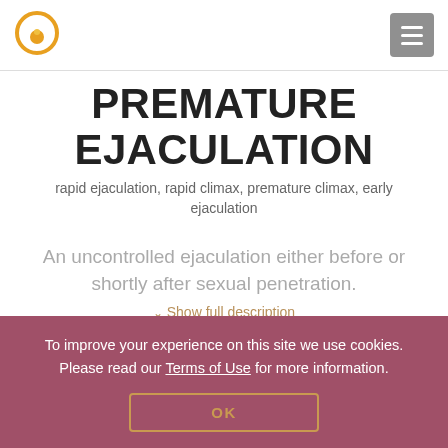[Figure (logo): Circular logo with golden/orange ring and small sphere, on white background]
PREMATURE EJACULATION
rapid ejaculation, rapid climax, premature climax, early ejaculation
An uncontrolled ejaculation either before or shortly after sexual penetration.
Show full description
To improve your experience on this site we use cookies. Please read our Terms of Use for more information.
OK